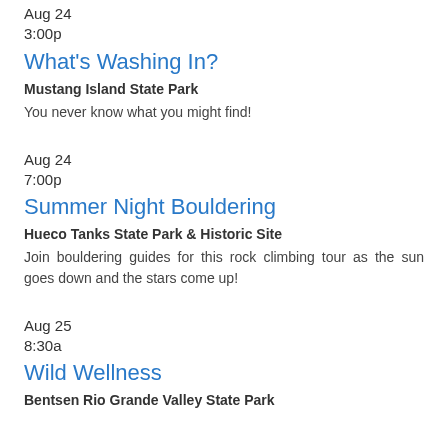Aug 24
3:00p
What's Washing In?
Mustang Island State Park
You never know what you might find!
Aug 24
7:00p
Summer Night Bouldering
Hueco Tanks State Park & Historic Site
Join bouldering guides for this rock climbing tour as the sun goes down and the stars come up!
Aug 25
8:30a
Wild Wellness
Bentsen Rio Grande Valley State Park